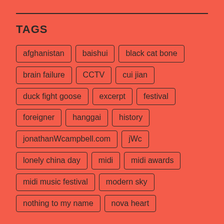TAGS
afghanistan
baishui
black cat bone
brain failure
CCTV
cui jian
duck fight goose
excerpt
festival
foreigner
hanggai
history
jonathanWcampbell.com
jWc
lonely china day
midi
midi awards
midi music festival
modern sky
nothing to my name
nova heart